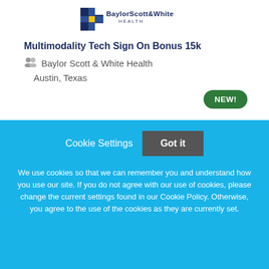[Figure (logo): Baylor Scott & White Health logo with blue/yellow cross icon and text]
Multimodality Tech Sign On Bonus 15k
Baylor Scott & White Health
Austin, Texas
NEW!
Cookie Settings  Got it
We use cookies so that we can remember you and understand how you use our site. If you do not agree with our use of cookies, please change the current settings found in our Cookie Policy. Otherwise, you agree to the use of the cookies as they are currently set.